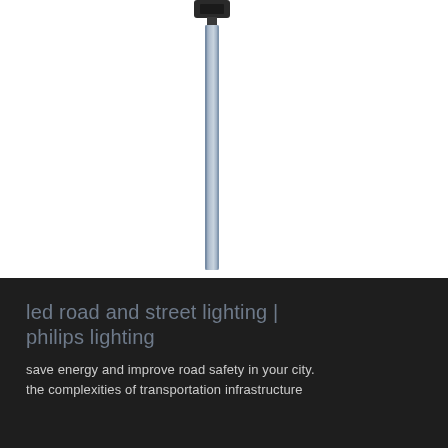[Figure (photo): A street lighting pole with a slim cylindrical silver/blue-grey pole and a dark rectangular lamp head fixture at the top, photographed against a white background. The pole extends vertically and is cut off at the bottom of the image section.]
led road and street lighting | philips lighting
save energy and improve road safety in your city. the complexities of transportation infrastructure